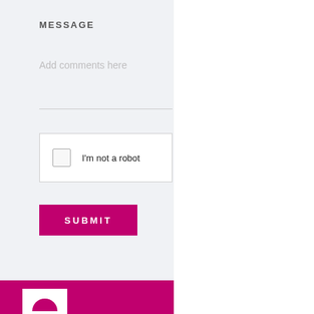MESSAGE
Add comments here
[Figure (screenshot): CAPTCHA checkbox widget with 'I'm not a robot' text]
[Figure (screenshot): Pink SUBMIT button]
[Figure (screenshot): Pink footer bar with white logo box containing a pink arch/logo shape]